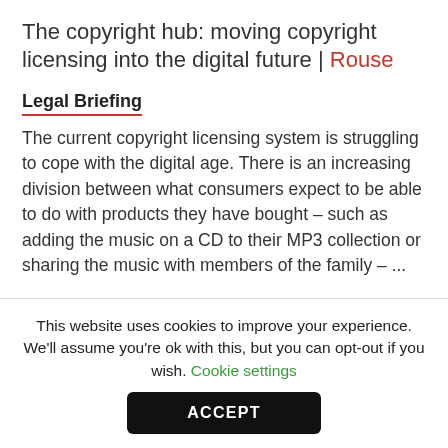The copyright hub: moving copyright licensing into the digital future | Rouse
Legal Briefing
The current copyright licensing system is struggling to cope with the digital age. There is an increasing division between what consumers expect to be able to do with products they have bought – such as adding the music on a CD to their MP3 collection or sharing the music with members of the family – ...
Continue reading
This website uses cookies to improve your experience. We'll assume you're ok with this, but you can opt-out if you wish. Cookie settings
ACCEPT